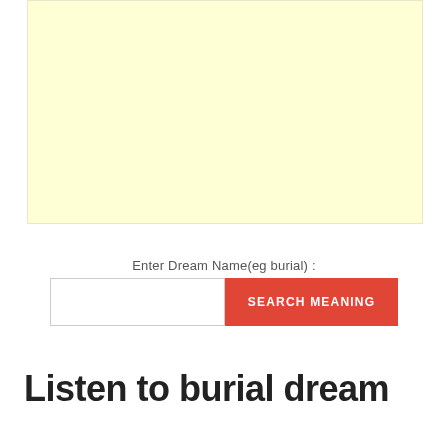[Figure (other): Light yellow advertisement placeholder box]
Enter Dream Name(eg burial) :
[Figure (other): Search input field and red SEARCH MEANING button]
Listen to burial dream